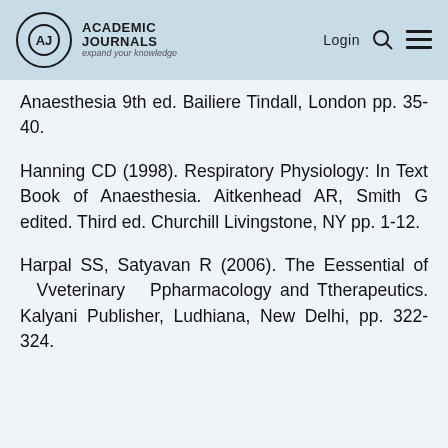Academic Journals — expand your knowledge | Login
Anaesthesia 9th ed. Bailiere Tindall, London pp. 35-40.
Hanning CD (1998). Respiratory Physiology: In Text Book of Anaesthesia. Aitkenhead AR, Smith G edited. Third ed. Churchill Livingstone, NY pp. 1-12.
Harpal SS, Satyavan R (2006). The Eessential of Vveterinary Ppharmacology and Ttherapeutics. Kalyani Publisher, Ludhiana, New Delhi, pp. 322-324.